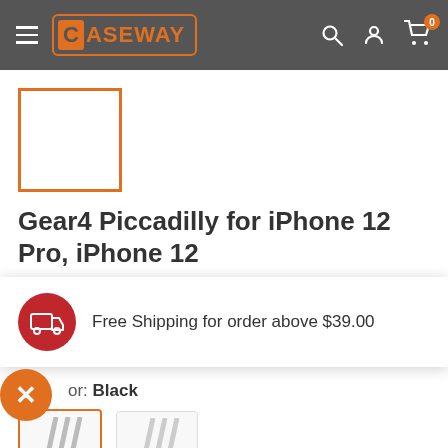CASEWAY — navigation header with hamburger menu, logo, search, account, and cart icons (0 items)
[Figure (photo): Product image placeholder: empty white box with orange border]
Gear4 Piccadilly for iPhone 12 Pro, iPhone 12
Free Shipping for order above $39.00
Color: Black